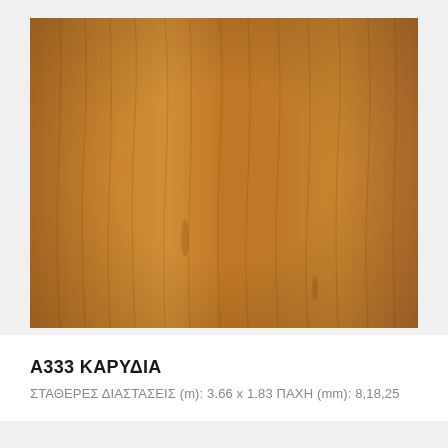[Figure (photo): Close-up photo of wood veneer surface in warm walnut/karudia color with natural wood grain pattern, showing vertical grain lines and subtle color variations in brown and amber tones.]
A333 ΚΑΡΥΔΙΑ
ΣΤΑΘΕΡΕΣ ΔΙΑΣΤΑΣΕΙΣ (m): 3.66 x 1.83 ΠΑΧΗ (mm): 8,18,25